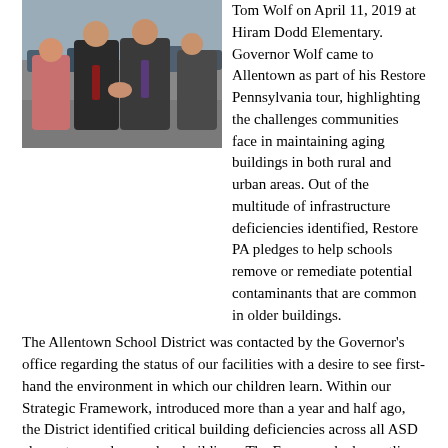[Figure (photo): Photo of people shaking hands outdoors, including Governor Tom Wolf at Hiram Dodd Elementary on April 11, 2019.]
Tom Wolf on April 11, 2019 at Hiram Dodd Elementary. Governor Wolf came to Allentown as part of his Restore Pennsylvania tour, highlighting the challenges communities face in maintaining aging buildings in both rural and urban areas. Out of the multitude of infrastructure deficiencies identified, Restore PA pledges to help schools remove or remediate potential contaminants that are common in older buildings.
The Allentown School District was contacted by the Governor's office regarding the status of our facilities with a desire to see first-hand the environment in which our children learn. Within our Strategic Framework, introduced more than a year and half ago, the District identified critical building deficiencies across all ASD elementary and secondary buildings. The Framework also outlines cultivation of a culture in which all students feel safe, valued and nurtured.
The Governor joined Superintendent Parker and Dodd Principal Kate Griffin on a tour of the school discussing challenges faced by a large, growing urban district. They were joined on the tour by local state representatives Peter Schweyer and Mike Schlossberg, Mayor Ray O'Connell, Lehigh County Executive Phil Armstrong, members of the ASD Board of Directors, a representative for